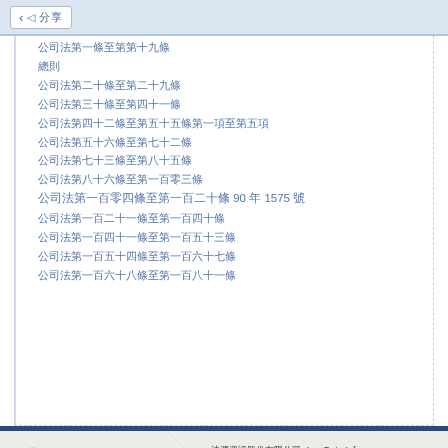分享
公司法第一條至第第十九條
總則
公司法第二十條至第二十九條
公司法第三十條至第四十一條
公司法第四十二條至第五十五條第一項至第五項
公司法第五十六條至第七十二條
公司法第七十三條至第八十五條
公司法第八十六條至第一百零三條
公司法第一百零四條至第一百二十條 90 年 1575 號
公司法第一百二十一條至第一百四十條
公司法第一百四十一條至第一百五十三條
公司法第一百五十四條至第一百六十七條
公司法第一百六十八條至第一百八十一條
法源法律網 LawBank　　法源資訊股份有限公司　Lex Data Inf　台北市中正區重慶南路一段 150 號 6 樓　6F.,No.15　E-mail：lawbank@lawbank.c　版權所有 法源資訊股份有限公司 法源法律網 著作權聲明。